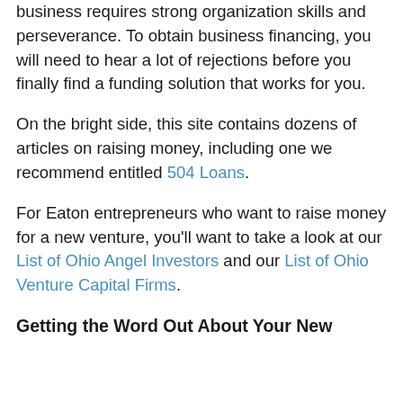business requires strong organization skills and perseverance. To obtain business financing, you will need to hear a lot of rejections before you finally find a funding solution that works for you.
On the bright side, this site contains dozens of articles on raising money, including one we recommend entitled 504 Loans.
For Eaton entrepreneurs who want to raise money for a new venture, you'll want to take a look at our List of Ohio Angel Investors and our List of Ohio Venture Capital Firms.
Getting the Word Out About Your New